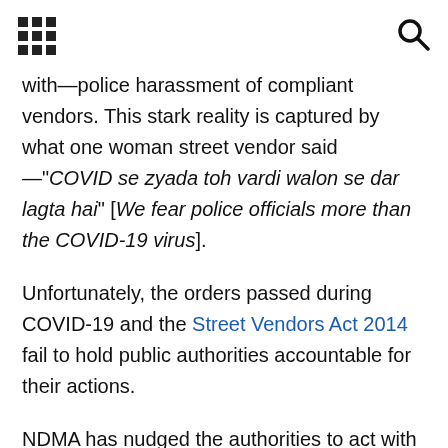[grid icon] [search icon]
with—police harassment of compliant vendors. This stark reality is captured by what one woman street vendor said —"COVID se zyada toh vardi walon se dar lagta hai" [We fear police officials more than the COVID-19 virus].
Unfortunately, the orders passed during COVID-19 and the Street Vendors Act 2014 fail to hold public authorities accountable for their actions.
NDMA has nudged the authorities to act with 'compassion' and adopt a 'humane approach'. But what happens when police